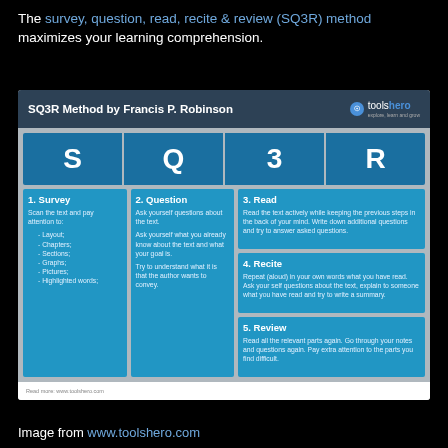The survey, question, read, recite & review (SQ3R) method maximizes your learning comprehension.
[Figure (infographic): SQ3R Method infographic by Francis P. Robinson showing five steps: 1. Survey (scan text, pay attention to layout, chapters, sections, graphs, pictures, highlighted words), 2. Question (ask yourself questions about the text, what you know, what your goal is, what the author wants to convey), 3. Read (read actively keeping previous steps in mind, write down additional questions), 4. Recite (repeat aloud in own words, ask self questions, explain to someone, write a summary), 5. Review (read relevant parts again, go through notes and questions, pay extra attention to difficult parts). Header letters S Q 3 R. Branded toolshero.]
Image from www.toolshero.com